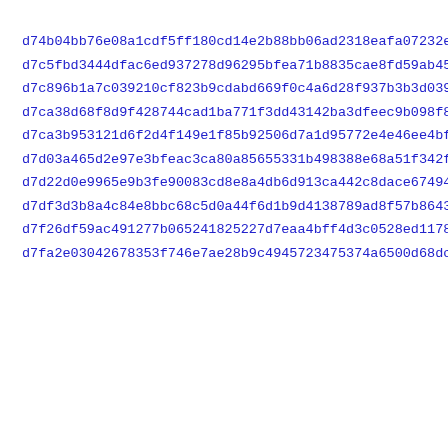d74b04bb76e08a1cdf5ff180cd14e2b88bb06ad2318eafa07232e17d0f7d8
d7c5fbd3444dfac6ed937278d96295bfea71b8835cae8fd59ab45eff8fa0f
d7c896b1a7c039210cf823b9cdabd669f0c4a6d28f937b3b3d0390d6c622c
d7ca38d68f8d9f428744cad1ba771f3dd43142ba3dfeec9b098f808857178
d7ca3b953121d6f2d4f149e1f85b92506d7a1d95772e4e46ee4bfd0b5b813
d7d03a465d2e97e3bfeac3ca80a85655331b498388e68a51f342f7ebbaed8
d7d22d0e9965e9b3fe90083cd8e8a4db6d913ca442c8dace6749453f838e0
d7df3d3b8a4c84e8bbc68c5d0a44f6d1b9d4138789ad8f57b864323d1830b
d7f26df59ac491277b065241825227d7eaa4bff4d3c0528ed117879bfae5d
d7fa2e03042678353f746e7ae28b9c4945723475374a6500d68dc84f96ae4